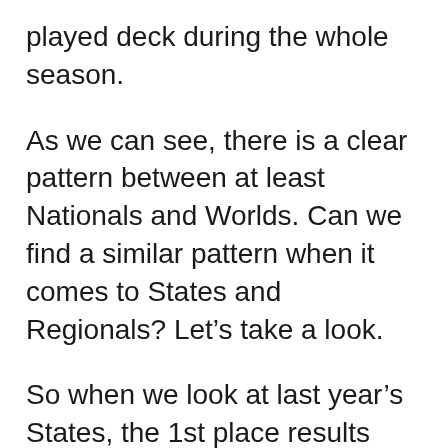played deck during the whole season.
As we can see, there is a clear pattern between at least Nationals and Worlds. Can we find a similar pattern when it comes to States and Regionals? Let’s take a look.
So when we look at last year’s States, the 1st place results looked like this.
16× Luxchomp (1 w/ Honchkrow)